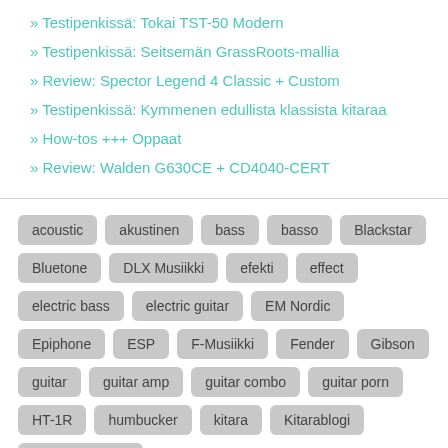» Testipenkissä: Tokai TST-50 Modern
» Testipenkissä: Seitsemän GrassRoots-mallia
» Review: Spector Legend 4 Classic + Custom
» Testipenkissä: Kymmenen edullista klassista kitaraa
» How-tos +++ Oppaat
» Review: Walden G630CE + CD4040-CERT
acoustic akustinen bass basso Blackstar Bluetone DLX Musiikki efekti effect electric bass electric guitar EM Nordic Epiphone ESP F-Musiikki Fender Gibson guitar guitar amp guitar combo guitar porn HT-1R humbucker kitara Kitarablogi Kitarablogi.com